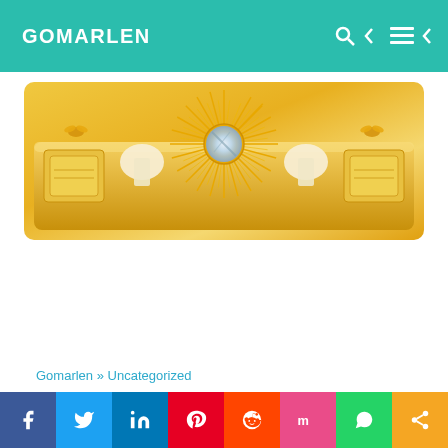GOMARLEN
[Figure (photo): A decorative golden shelf or headboard with a sunburst mirror in the center and ornate golden details on the sides, set against a golden/cream background.]
Gomarlen » Uncategorized
[Figure (infographic): Social media sharing bar with buttons for Facebook, Twitter, LinkedIn, Pinterest, Reddit, Mix, WhatsApp, and Share.]